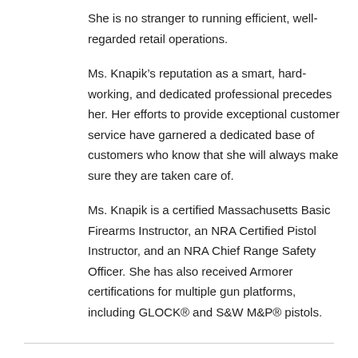She is no stranger to running efficient, well-regarded retail operations.
Ms. Knapik’s reputation as a smart, hard-working, and dedicated professional precedes her. Her efforts to provide exceptional customer service have garnered a dedicated base of customers who know that she will always make sure they are taken care of.
Ms. Knapik is a certified Massachusetts Basic Firearms Instructor, an NRA Certified Pistol Instructor, and an NRA Chief Range Safety Officer. She has also received Armorer certifications for multiple gun platforms, including GLOCK® and S&W M&P® pistols.